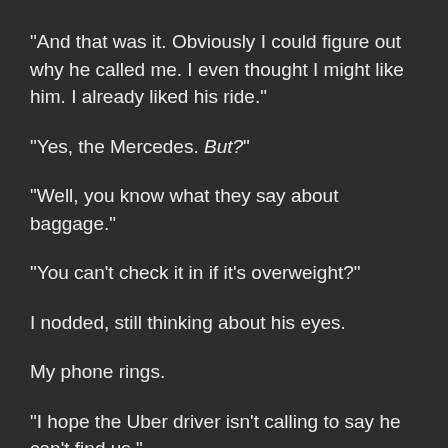“And that was it. Obviously I could figure out why he called me. I even thought I might like him. I already liked his ride.”
“Yes, the Mercedes. But?”
“Well, you know what they say about baggage.”
“You can’t check it in if it’s overweight?”
I nodded, still thinking about his eyes.
My phone rings.
“I hope the Uber driver isn’t calling to say he can’t find us.”